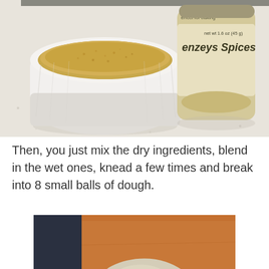[Figure (photo): Photo of a white ramekin filled with golden breadcrumbs or cornmeal, next to a spice jar labeled 'enzeys Spices' with net wt 1.6 oz (45g), on a light speckled countertop]
Then, you just mix the dry ingredients, blend in the wet ones, knead a few times and break into 8 small balls of dough.
[Figure (photo): Photo of a ball of dough with seeds (sesame, poppy, etc.) on a brown cutting board or parchment paper surface]